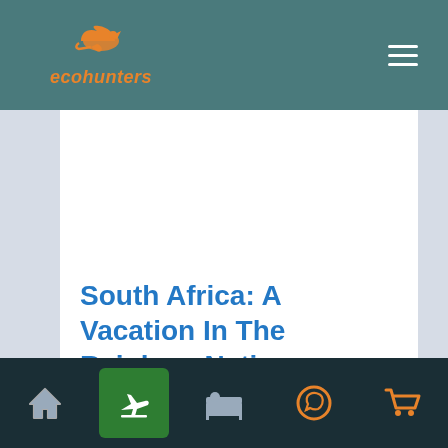ecohunters
South Africa: A Vacation In The Rainbow Nation
A 10 day adventure in the postcard perfect landscapes of South Africa. Scenic routes, verdant vineyards and quaint beaches await you.
Navigation bar with home, flights (active), accommodation, WhatsApp, and cart icons